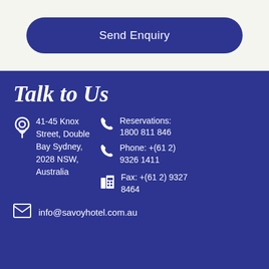Send Enquiry
Talk to Us
41-45 Knox Street, Double Bay Sydney, 2028 NSW, Australia
Reservations: 1800 811 846
Phone: +(61 2) 9326 1411
Fax: +(61 2) 9327 8464
info@savoyhotel.com.au